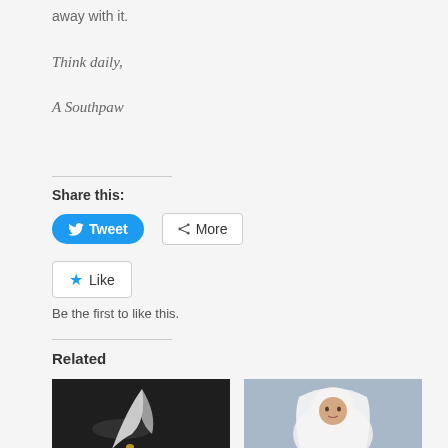away with it.
Think daily,
A Southpaw
Share this:
[Figure (screenshot): Tweet button (blue rounded) and More button (outlined)]
[Figure (screenshot): Like button with star icon]
Be the first to like this.
Related
[Figure (photo): Dark background image with white smoke/light streaks]
[Figure (photo): Baby wrapped in white towel/blanket, light blue background]